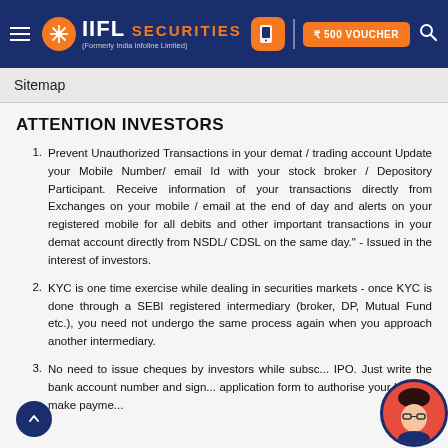IIFL Securities (Formerly India Infoline Limited) – ₹500 Voucher
Sitemap
ATTENTION INVESTORS
1. Prevent Unauthorized Transactions in your demat / trading account Update your Mobile Number/ email Id with your stock broker / Depository Participant. Receive information of your transactions directly from Exchanges on your mobile / email at the end of day and alerts on your registered mobile for all debits and other important transactions in your demat account directly from NSDL/ CDSL on the same day." - Issued in the interest of investors.
2. KYC is one time exercise while dealing in securities markets - once KYC is done through a SEBI registered intermediary (broker, DP, Mutual Fund etc.), you need not undergo the same process again when you approach another intermediary.
3. No need to issue cheques by investors while subscribing in IPO. Just write the bank account number and sign the application form to authorise your bank to make payment.